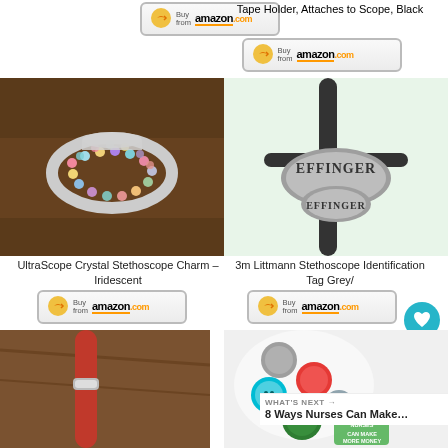[Figure (photo): Amazon Buy button top left]
Tape Holder, Attaches to Scope, Black
[Figure (photo): Amazon Buy button top right]
[Figure (photo): UltraScope Crystal Stethoscope Charm – Iridescent (sparkling gemstone ring on brown background)]
[Figure (photo): Effinger stethoscope identification tag, grey shield shape]
UltraScope Crystal Stethoscope Charm – Iridescent
[Figure (photo): Amazon Buy button below UltraScope charm]
3m Littmann Stethoscope Identification Tag Grey/
[Figure (photo): Amazon Buy button below Littmann tag]
[Figure (photo): Red stethoscope with silver band detail on wooden surface]
[Figure (photo): Multiple colorful stethoscope identification tags/charms on white stethoscope]
WHAT'S NEXT → 8 Ways Nurses Can Make…